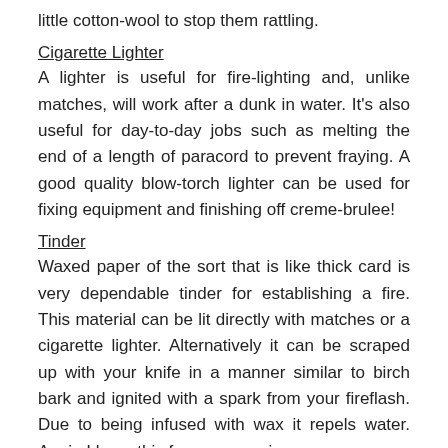little cotton-wool to stop them rattling.
Cigarette Lighter
A lighter is useful for fire-lighting and, unlike matches, will work after a dunk in water. It's also useful for day-to-day jobs such as melting the end of a length of paracord to prevent fraying. A good quality blow-torch lighter can be used for fixing equipment and finishing off creme-brulee!
Tinder
Waxed paper of the sort that is like thick card is very dependable tinder for establishing a fire. This material can be lit directly with matches or a cigarette lighter. Alternatively it can be scraped up with your knife in a manner similar to birch bark and ignited with a spark from your fireflash. Due to being infused with wax it repels water. Again I keep this for emergencies.
Torch
A good quality torch is worth the expense, particularly if you camp outside of the summer months. I like a torch with a powerful beam that can be used for route-finding in the dark,